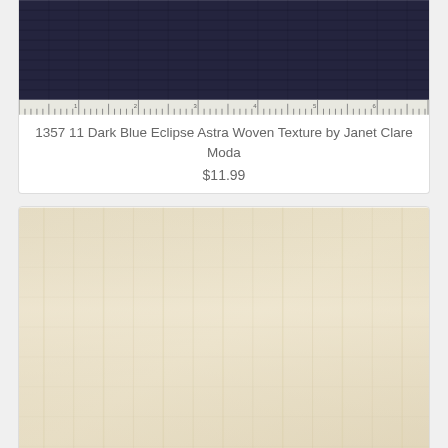[Figure (photo): Dark navy/indigo blue woven fabric texture swatch with ruler strip at bottom]
1357 11 Dark Blue Eclipse Astra Woven Texture by Janet Clare Moda
$11.99
[Figure (photo): Cream/natural off-white woven fabric texture swatch with ruler strip at bottom]
1357 17 Natural Milky Way Astra Woven Texture by Janet Clare Moda
$11.99